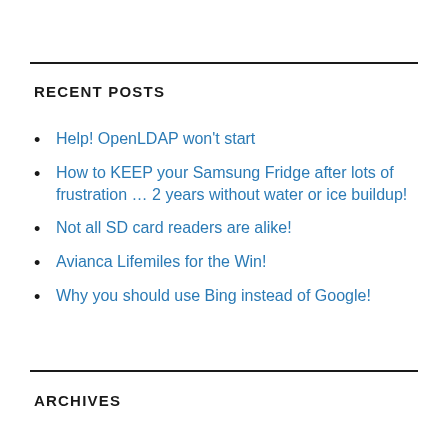RECENT POSTS
Help! OpenLDAP won’t start
How to KEEP your Samsung Fridge after lots of frustration … 2 years without water or ice buildup!
Not all SD card readers are alike!
Avianca Lifemiles for the Win!
Why you should use Bing instead of Google!
ARCHIVES